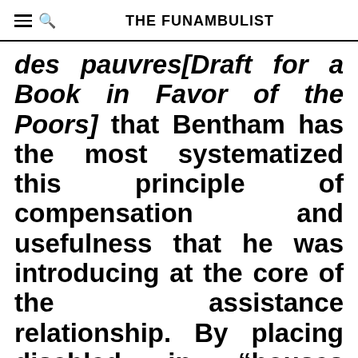THE FUNAMBULIST
des pauvres[Draft for a Book in Favor of the Poors] that Bentham has the most systematized this principle of compensation and usefulness that he was introducing at the core of the assistance relationship. By placing disabled in “houses specially designed for